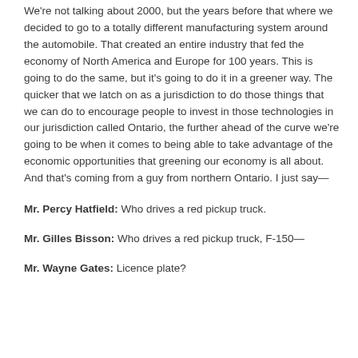We're not talking about 2000, but the years before that where we decided to go to a totally different manufacturing system around the automobile. That created an entire industry that fed the economy of North America and Europe for 100 years. This is going to do the same, but it's going to do it in a greener way. The quicker that we latch on as a jurisdiction to do those things that we can do to encourage people to invest in those technologies in our jurisdiction called Ontario, the further ahead of the curve we're going to be when it comes to being able to take advantage of the economic opportunities that greening our economy is all about. And that's coming from a guy from northern Ontario. I just say—
Mr. Percy Hatfield: Who drives a red pickup truck.
Mr. Gilles Bisson: Who drives a red pickup truck, F-150—
Mr. Wayne Gates: Licence plate?